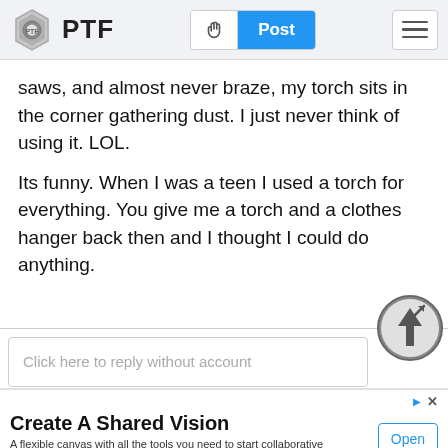PTF
saws, and almost never braze, my torch sits in the corner gathering dust. I just never think of using it. LOL.
Its funny. When I was a teen I used a torch for everything. You give me a torch and a clothes hanger back then and I thought I could do anything.
Click here to reply without account
Create A Shared Vision
A flexible canvas with all the tools you need to start collaborative brainstorm sessions. Lucid Software
Open